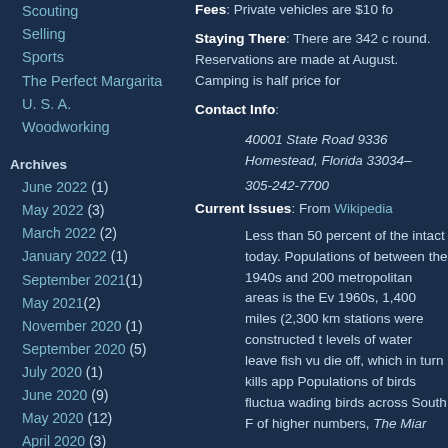Scouting
Selling
Sports
The Perfect Margarita
U. S. A.
Woodworking
Archives
June 2022 (1)
May 2022 (3)
March 2022 (2)
January 2022 (1)
September 2021 (1)
May 2021 (2)
November 2020 (1)
September 2020 (5)
July 2020 (1)
June 2020 (9)
May 2020 (12)
April 2020 (3)
Fees: Private vehicles are $10 fo
Staying There: There are 342 c round. Reservations are made at August. Camping is half price for
Contact Info:
40001 State Road 9336
Homestead, Florida 33034–
305-242-7700
Current Issues: From Wikipedia
Less than 50 percent of the intact today. Populations of between the 1940s and 200 metropolitan areas is the Ev 1960s, 1,400 miles (2,300 km stations were constructed t levels of water leave fish vu die off, which in turn kills app Populations of birds fluctua wading birds across South F of higher numbers, The Miar